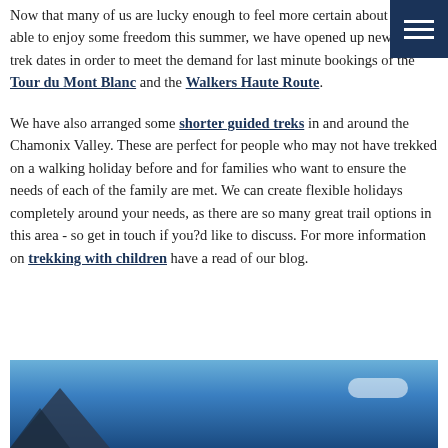Now that many of us are lucky enough to feel more certain about being able to enjoy some freedom this summer, we have opened up new guided trek dates in order to meet the demand for last minute bookings of the Tour du Mont Blanc and the Walkers Haute Route.
We have also arranged some shorter guided treks in and around the Chamonix Valley. These are perfect for people who may not have trekked on a walking holiday before and for families who want to ensure the needs of each of the family are met. We can create flexible holidays completely around your needs, as there are so many great trail options in this area - so get in touch if you?d like to discuss. For more information on trekking with children have a read of our blog.
[Figure (photo): Partial photo of mountain scenery with blue sky and mountain silhouette visible at bottom of page]